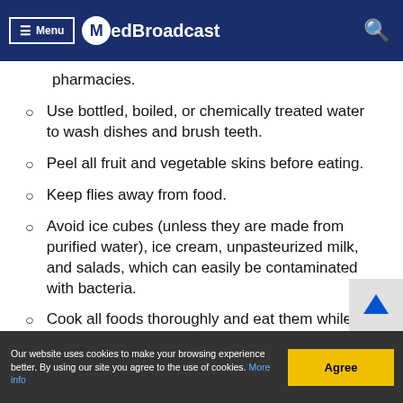Menu | MedBroadcast
pharmacies.
Use bottled, boiled, or chemically treated water to wash dishes and brush teeth.
Peel all fruit and vegetable skins before eating.
Keep flies away from food.
Avoid ice cubes (unless they are made from purified water), ice cream, unpasteurized milk, and salads, which can easily be contaminated with bacteria.
Cook all foods thoroughly and eat them while they're hot.
Our website uses cookies to make your browsing experience better. By using our site you agree to the use of cookies. More info